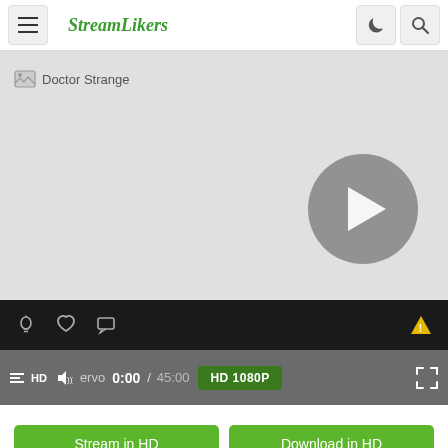StreamLikers
[Figure (screenshot): Video player showing Doctor Strange with play button, control bar with icons, player bar with HD/volume/server/time/quality controls, and Stream in HD / Download in HD buttons]
Doctor Strange
0:00 / 45:00
HD 1080P
Stream in HD
Download in HD